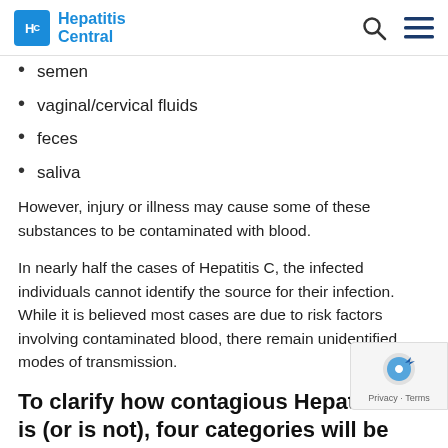Hepatitis Central
semen
vaginal/cervical fluids
feces
saliva
However, injury or illness may cause some of these substances to be contaminated with blood.
In nearly half the cases of Hepatitis C, the infected individuals cannot identify the source for their infection. While it is believed most cases are due to risk factors involving contaminated blood, there remain unidentified modes of transmission.
To clarify how contagious Hepatitis C is (or is not), four categories will be described: